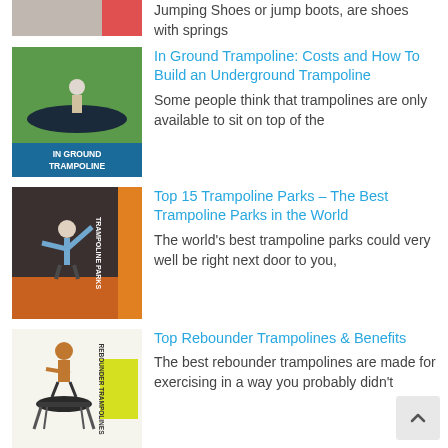Jumping Shoes or jump boots, are shoes with springs
[Figure (photo): In Ground Trampoline thumbnail image with label 'IN GROUND TRAMPOLINE']
In Ground Trampoline: Costs and How To Build an Underground Trampoline
Some people think that trampolines are only available to sit on top of the
[Figure (photo): Trampoline Parks thumbnail image with label 'TRAMPOLINE PARKS']
Top 15 Trampoline Parks – The Best Trampoline Parks in the World
The world's best trampoline parks could very well be right next door to you,
[Figure (photo): Rebounder Trampolines thumbnail image with label 'REBOUNDER TRAMPOLINES']
Top Rebounder Trampolines & Benefits
The best rebounder trampolines are made for exercising in a way you probably didn't
[Figure (photo): Trampoline tie down anchors image]
Trampoline Tie Down Anchors: See Some of the Best Anchors